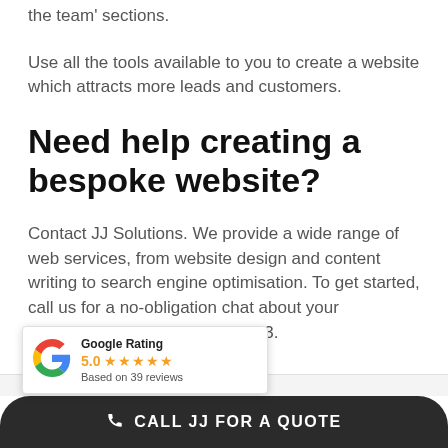the team' sections.
Use all the tools available to you to create a website which attracts more leads and customers.
Need help creating a bespoke website?
Contact JJ Solutions. We provide a wide range of web services, from website design and content writing to search engine optimisation. To get started, call us for a no-obligation chat about your … 0 3871 8773.
[Figure (infographic): Google Rating widget showing 5.0 stars based on 39 reviews, with Google G logo]
February 4th, 2021 | Web Design
CALL JJ FOR A QUOTE